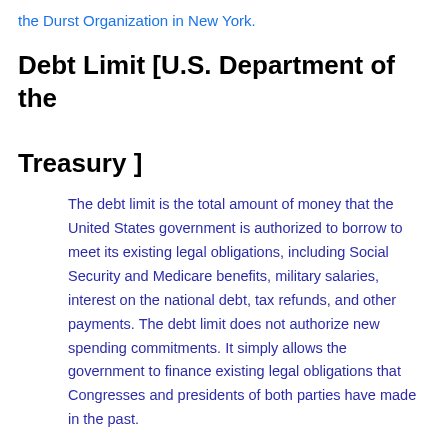the Durst Organization in New York.
Debt Limit [U.S. Department of the Treasury ]
The debt limit is the total amount of money that the United States government is authorized to borrow to meet its existing legal obligations, including Social Security and Medicare benefits, military salaries, interest on the national debt, tax refunds, and other payments. The debt limit does not authorize new spending commitments. It simply allows the government to finance existing legal obligations that Congresses and presidents of both parties have made in the past.